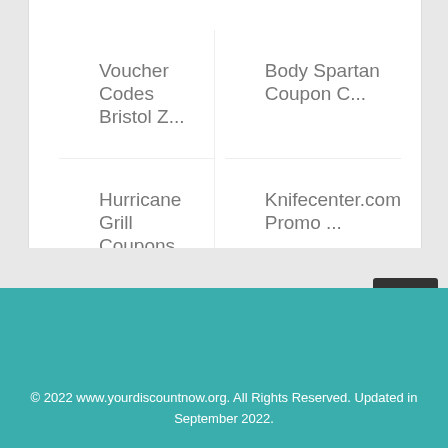Voucher Codes Bristol Z...
Body Spartan Coupon C...
Hurricane Grill Coupons
Knifecenter.com Promo ...
OZ Game Shop Promo C...
Cavern Club Coupons
Space NK Buy One Get O...
Woodwick Free Shipping...
Cole + Coddle Promo Co...
Wetsuit Wearhouse 20% ...
Free Eye Test At Boots
How To Get Free Shippin...
© 2022 www.yourdiscountnow.org. All Rights Reserved. Updated in September 2022.